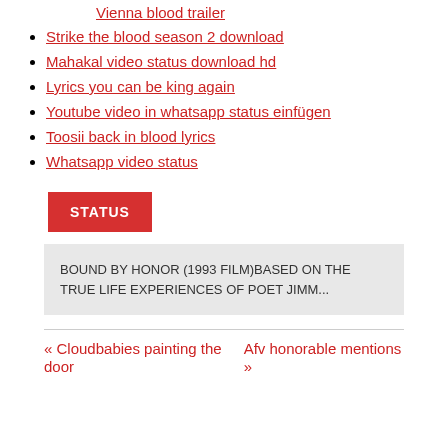Strike the blood season 2 download
Mahakal video status download hd
Lyrics you can be king again
Youtube video in whatsapp status einfügen
Toosii back in blood lyrics
Whatsapp video status
STATUS
BOUND BY HONOR (1993 FILM)BASED ON THE TRUE LIFE EXPERIENCES OF POET JIMM...
« Cloudbabies painting the door
Afv honorable mentions »